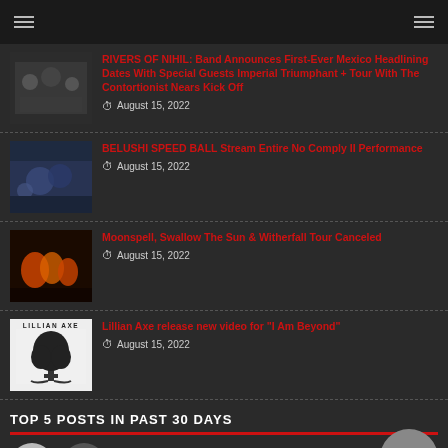Navigation bar with hamburger menus
RIVERS OF NIHIL: Band Announces First-Ever Mexico Headlining Dates With Special Guests Imperial Triumphant + Tour With The Contortionist Nears Kick Off — August 15, 2022
BELUSHI SPEED BALL Stream Entire No Comply II Performance — August 15, 2022
Moonspell, Swallow The Sun & Witherfall Tour Canceled — August 15, 2022
Lillian Axe release new video for "I Am Beyond" — August 15, 2022
TOP 5 POSTS IN PAST 30 DAYS
Nigel on the Band SIX by SIX on Their Debut CD – The Groove Is The Most Important Element In Any Band!